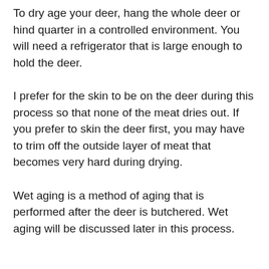To dry age your deer, hang the whole deer or hind quarter in a controlled environment. You will need a refrigerator that is large enough to hold the deer.
I prefer for the skin to be on the deer during this process so that none of the meat dries out. If you prefer to skin the deer first, you may have to trim off the outside layer of meat that becomes very hard during drying.
Wet aging is a method of aging that is performed after the deer is butchered. Wet aging will be discussed later in this process.